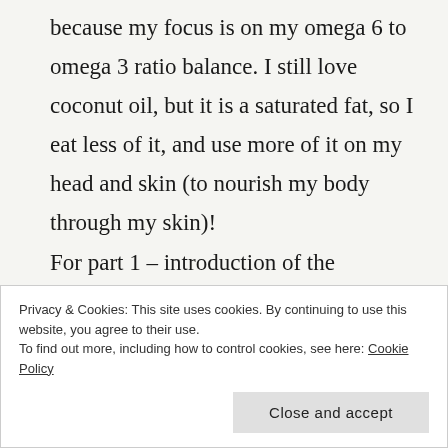because my focus is on my omega 6 to omega 3 ratio balance. I still love coconut oil, but it is a saturated fat, so I eat less of it, and use more of it on my head and skin (to nourish my body through my skin)!
For part 1 – introduction of the Integration Diet:
https://sheilamurrey.net/2020/12/20/integration-diet/
Privacy & Cookies: This site uses cookies. By continuing to use this website, you agree to their use.
To find out more, including how to control cookies, see here: Cookie Policy
Close and accept